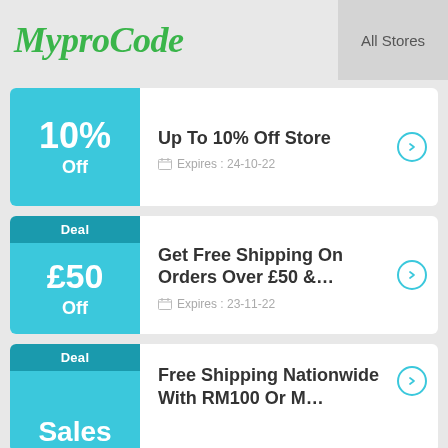MyproCode  All Stores
[Figure (other): Coupon card: 10% Off, Up To 10% Off Store, Expires: 24-10-22]
[Figure (other): Coupon card: Deal, £50 Off, Get Free Shipping On Orders Over £50..., Expires: 23-11-22]
[Figure (other): Coupon card: Deal, Sales, Free Shipping Nationwide With RM100 Or M...]